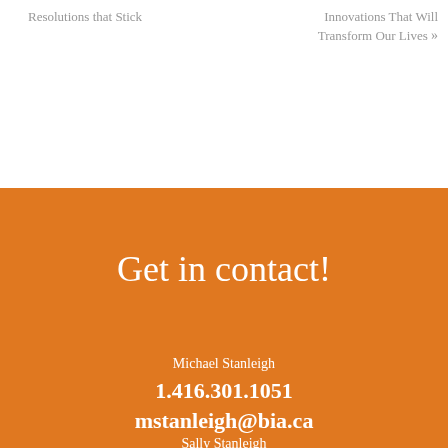Resolutions that Stick
Innovations That Will Transform Our Lives »
Get in contact!
Michael Stanleigh
1.416.301.1051
mstanleigh@bia.ca
Sally Stanleigh